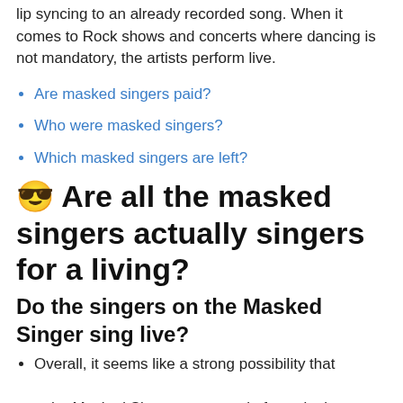lip syncing to an already recorded song. When it comes to Rock shows and concerts where dancing is not mandatory, the artists perform live.
Are masked singers paid?
Who were masked singers?
Which masked singers are left?
😎 Are all the masked singers actually singers for a living?
Do the singers on the Masked Singer sing live?
Overall, it seems like a strong possibility that the Masked Singer stars are, in fact, singing